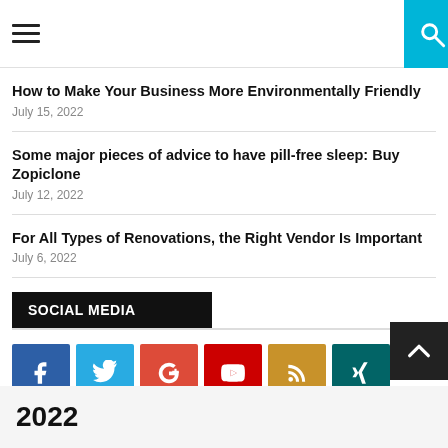hamburger menu | search
How to Make Your Business More Environmentally Friendly
July 15, 2022
Some major pieces of advice to have pill-free sleep: Buy Zopiclone
July 12, 2022
For All Types of Renovations, the Right Vendor Is Important
July 6, 2022
SOCIAL MEDIA
[Figure (infographic): Row of social media icons: Facebook (blue), Twitter (light blue), Google+ (orange-red), YouTube (red), RSS (amber), XING (teal)]
2022